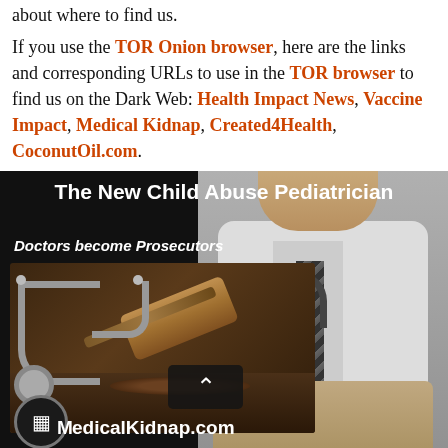about where to find us.
If you use the TOR Onion browser, here are the links and corresponding URLs to use in the TOR browser to find us on the Dark Web: Health Impact News, Vaccine Impact, Medical Kidnap, Created4Health, CoconutOil.com.
[Figure (illustration): Promotional image with black background showing title 'The New Child Abuse Pediatrician' with subtitle 'Doctors become Prosecutors', an inset photo of a gavel and stethoscope, a doctor with arms crossed in white coat with stethoscope, and MedicalKidnap.com branding at the bottom.]